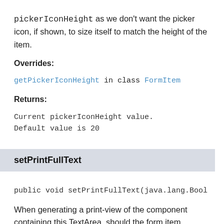pickerIconHeight as we don't want the picker icon, if shown, to size itself to match the height of the item.
Overrides:
getPickerIconHeight in class FormItem
Returns:
Current pickerIconHeight value. Default value is 20
setPrintFullText
public void setPrintFullText(java.lang.Bool
When generating a print-view of the component containing this TextArea, should the form item expand to accommodate its value? If set to false the text box not expand to fit its content in the print view